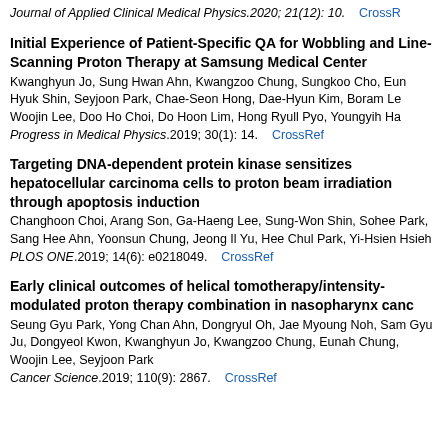Journal of Applied Clinical Medical Physics.2020; 21(12): 10. CrossRef
Initial Experience of Patient-Specific QA for Wobbling and Line-Scanning Proton Therapy at Samsung Medical Center
Kwanghyun Jo, Sung Hwan Ahn, Kwangzoo Chung, Sungkoo Cho, Eun Hyuk Shin, Seyjoon Park, Chae-Seon Hong, Dae-Hyun Kim, Boram Lee, Woojin Lee, Doo Ho Choi, Do Hoon Lim, Hong Ryull Pyo, Youngyih Ha
Progress in Medical Physics.2019; 30(1): 14. CrossRef
Targeting DNA-dependent protein kinase sensitizes hepatocellular carcinoma cells to proton beam irradiation through apoptosis induction
Changhoon Choi, Arang Son, Ga-Haeng Lee, Sung-Won Shin, Sohee Park, Sang Hee Ahn, Yoonsun Chung, Jeong Il Yu, Hee Chul Park, Yi-Hsien Hsieh
PLOS ONE.2019; 14(6): e0218049. CrossRef
Early clinical outcomes of helical tomotherapy/intensity-modulated proton therapy combination in nasopharynx cance
Seung Gyu Park, Yong Chan Ahn, Dongryul Oh, Jae Myoung Noh, Sang Gyu Ju, Dongyeol Kwon, Kwanghyun Jo, Kwangzoo Chung, Eunah Chung, Woojin Lee, Seyjoon Park
Cancer Science.2019; 110(9): 2867. CrossRef